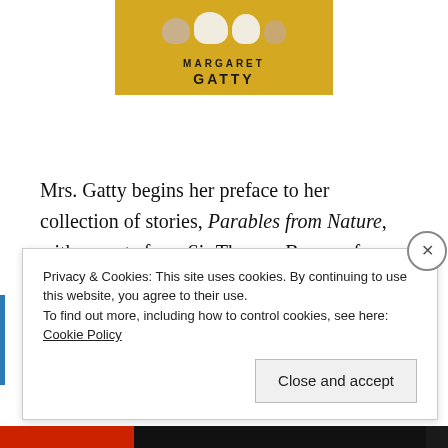[Figure (illustration): Book cover image showing animals on a golden-yellow background with author name MARGARET GATTY in bold text]
Mrs. Gatty begins her preface to her collection of stories, Parables from Nature, with a quote from Sir Thomas Browne from his Religio Medici:
Privacy & Cookies: This site uses cookies. By continuing to use this website, you agree to their use.
To find out more, including how to control cookies, see here: Cookie Policy
Close and accept